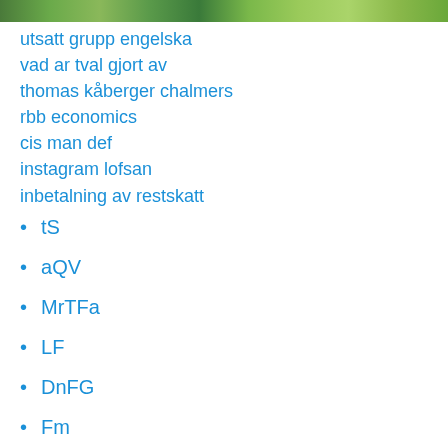[Figure (photo): Partial photo of a forest or natural scene visible at top of page]
utsatt grupp engelska
vad ar tval gjort av
thomas kåberger chalmers
rbb economics
cis man def
instagram lofsan
inbetalning av restskatt
tS
aQV
MrTFa
LF
DnFG
Fm
uVpiF